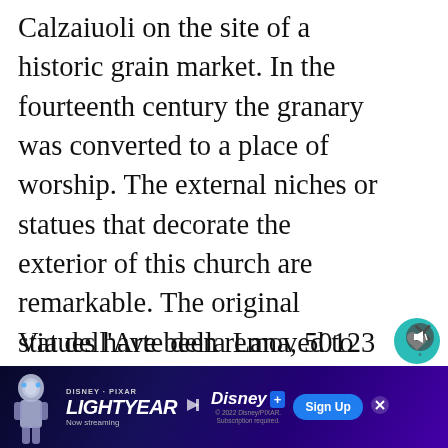Calzaiuoli on the site of a historic grain market. In the fourteenth century the granary was converted to a place of worship. The external niches or statues that decorate the exterior of this church are remarkable. The original statues have been removed to various museums and have been replaced with replicas to protect against theft and the weather. Some of the original statues reside in the Orsanmichele Museum located on the upper floor of the church (open only on Mondays).
Via dell'Arte della Lana, 50123...